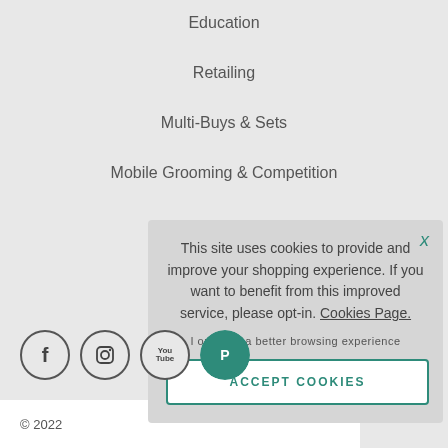Education
Retailing
Multi-Buys & Sets
Mobile Grooming & Competition
OUR WEBSITE
Site Map
Privacy Policy
[Figure (screenshot): Cookie consent popup overlay with text: 'This site uses cookies to provide and improve your shopping experience. If you want to benefit from this improved service, please opt-in. Cookies Page.' with opt-in link and Accept Cookies button]
© 2022